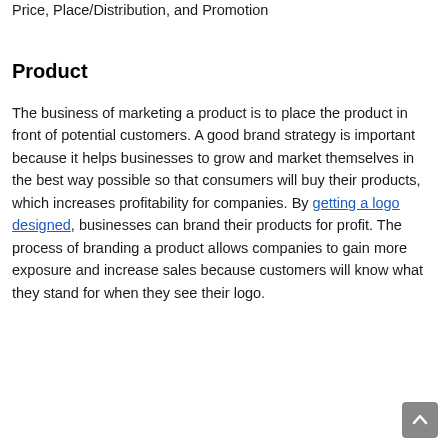Price, Place/Distribution, and Promotion
Product
The business of marketing a product is to place the product in front of potential customers. A good brand strategy is important because it helps businesses to grow and market themselves in the best way possible so that consumers will buy their products, which increases profitability for companies. By getting a logo designed, businesses can brand their products for profit. The process of branding a product allows companies to gain more exposure and increase sales because customers will know what they stand for when they see their logo.